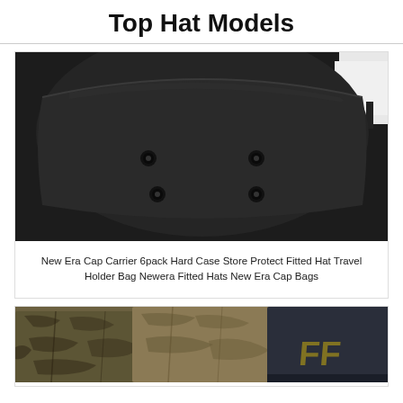Top Hat Models
[Figure (photo): Close-up photo of a black hat carrier/case with ventilation grommets, viewed from above. The case is made of black material with four circular metal grommets visible.]
New Era Cap Carrier 6pack Hard Case Store Protect Fitted Hat Travel Holder Bag Newera Fitted Hats New Era Cap Bags
[Figure (photo): Partial photo of hats with camouflage or patterned fabric, olive/khaki tones with dark accents, partially visible at bottom of page.]